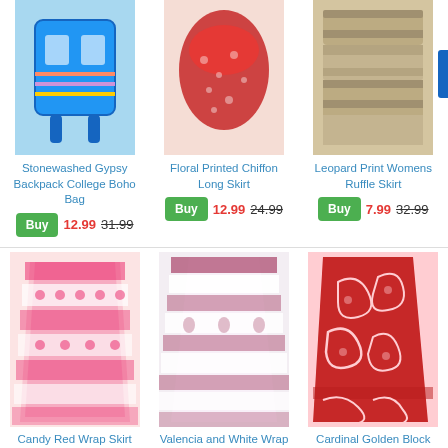[Figure (photo): Stonewashed Gypsy Backpack College Boho Bag product image (blue bag with colorful embroidery, partially cropped at top)]
Stonewashed Gypsy Backpack College Boho Bag
Buy 12.99 31.99
[Figure (photo): Floral Printed Chiffon Long Skirt product image (red floral skirt, partially cropped at top)]
Floral Printed Chiffon Long Skirt
Buy 12.99 24.99
[Figure (photo): Leopard Print Womens Ruffle Skirt product image (brown ruffled skirt, partially cropped at top)]
Leopard Print Womens Ruffle Skirt
Buy 7.99 32.99
[Figure (photo): Candy Red Wrap Skirt with Elephant Block Print product image (red and white patterned wrap skirt)]
Candy Red Wrap Skirt with Elephant Block Print
[Figure (photo): Valencia and White Wrap Around Skirt product image (white and maroon patterned wrap skirt)]
Valencia and White Wrap Around Skirt
[Figure (photo): Cardinal Golden Block Print Wrap Skirt product image (bright red wrap skirt with white embroidery)]
Cardinal Golden Block Print Wrap Skirt